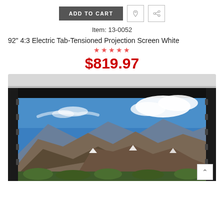ADD TO CART
Item: 13-0052
92" 4:3 Electric Tab-Tensioned Projection Screen White
☆☆☆☆☆
$819.97
[Figure (photo): Electric tab-tensioned projection screen partially lowered showing a mountain landscape with blue sky and clouds projected on the screen surface. The screen has a white housing at the top and black borders.]